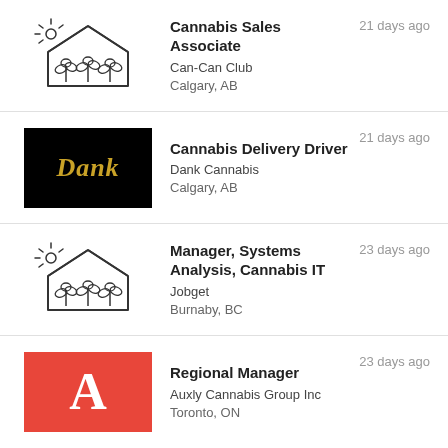Cannabis Sales Associate | Can-Can Club | Calgary, AB | 21 days ago
Cannabis Delivery Driver | Dank Cannabis | Calgary, AB | 21 days ago
Manager, Systems Analysis, Cannabis IT | Jobget | Burnaby, BC | 23 days ago
Regional Manager | Auxly Cannabis Group Inc | Toronto, ON | 23 days ago